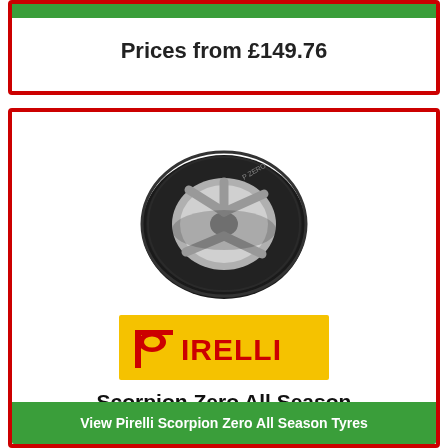Prices from £149.76
[Figure (photo): A Pirelli Scorpion Zero All Season tyre shown at an angle with silver alloy wheel details visible]
[Figure (logo): Pirelli brand logo — red stylized P and IRELLI lettering on yellow background]
Scorpion Zero All Season
View Pirelli Scorpion Zero All Season Tyres